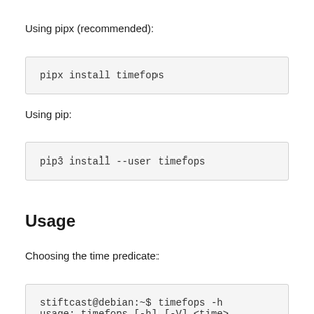Using pipx (recommended):
pipx install timefops
Using pip:
pip3 install --user timefops
Usage
Choosing the time predicate:
stiftcast@debian:~$ timefops -h
usage: timefops [-h] [-V] <time> ...